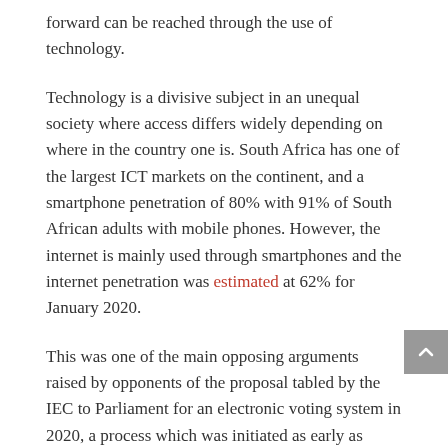forward can be reached through the use of technology.
Technology is a divisive subject in an unequal society where access differs widely depending on where in the country one is. South Africa has one of the largest ICT markets on the continent, and a smartphone penetration of 80% with 91% of South African adults with mobile phones. However, the internet is mainly used through smartphones and the internet penetration was estimated at 62% for January 2020.
This was one of the main opposing arguments raised by opponents of the proposal tabled by the IEC to Parliament for an electronic voting system in 2020, a process which was initiated as early as 2009. For this to take effect, the IEC needed to set a process in motion to change three legislations. The